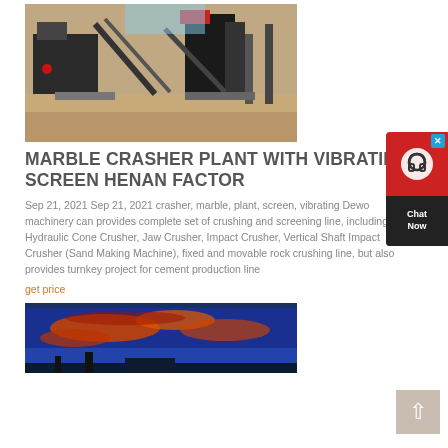[Figure (photo): Industrial crushing/screening plant machinery with conveyor belts and equipment on sandy ground]
MARBLE CRASHER PLANT WITH VIBRATING SCREEN HENAN FACTOR
Sep 21, 2021 Sep 21, 2021 crasher, marble, plant, screen, vibrating Dewo machinery can provides complete set of crushing and screening line, including Hydraulic Cone Crusher, Jaw Crusher, Impact Crusher, Vertical Shaft Impact Crusher (Sand Making Machine), fixed and movable rock crushing line, but also provides turnkey project for cement production line
get price
[Figure (photo): Sunset sky with orange-red clouds and industrial equipment silhouette at bottom]